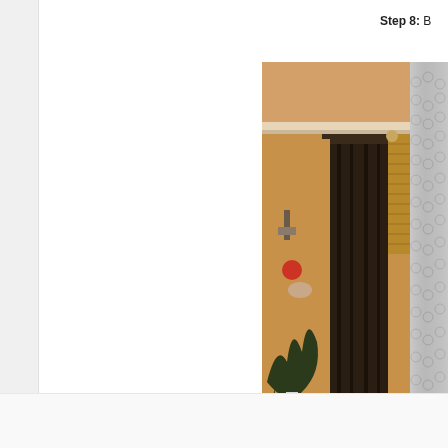Step 8: B
[Figure (photo): Interior room photo showing dark curtains hanging on a rod next to bamboo blinds, with a wall sconce and decorative ornaments visible. On the right side is what appears to be a Christmas tree wrapped in plastic/bubble wrap. The room has warm beige/orange walls and crown molding.]